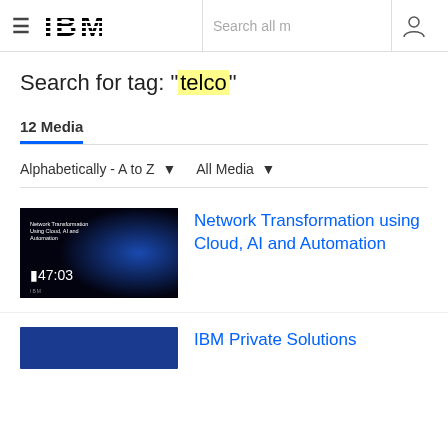IBM — Search all m
Search for tag: "telco"
12 Media
Alphabetically - A to Z   All Media
[Figure (screenshot): Video thumbnail showing a dark blue background with text 'Network Transformation Using Cloud, AI and Automation' and a timestamp of 47:03]
Network Transformation using Cloud, AI and Automation
[Figure (screenshot): Partial video thumbnail with blue background, bottom of page cut off]
IBM Private Solutions